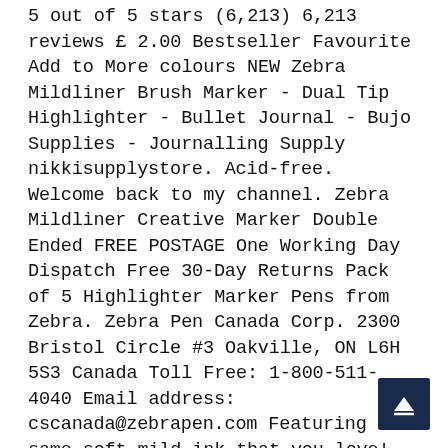5 out of 5 stars (6,213) 6,213 reviews £ 2.00 Bestseller Favourite Add to More colours NEW Zebra Mildliner Brush Marker - Dual Tip Highlighter - Bullet Journal - Bujo Supplies - Journalling Supply nikkisupplystore. Acid-free. Welcome back to my channel. Zebra Mildliner Creative Marker Double Ended FREE POSTAGE One Working Day Dispatch Free 30-Day Returns Pack of 5 Highlighter Marker Pens from Zebra. Zebra Pen Canada Corp. 2300 Bristol Circle #3 Oakville, ON L6H 5S3 Canada Toll Free: 1-800-511-4040 Email address: cscanada@zebrapen.com Featuring the same soft mild ink that you love! Just like the highlighter, it is translucent, … We use cookies to personalize content, to provide social media features and to analyze our traffic. Zebra's Mildliner Brush Pen is not just somewhat gentler on the eye than your usual highlighter, it's got twin tips too! Zebra Mildliner Double-Sided Highlighter Brush - Brush / Extra Fine Mild Blue Orange $8.95 (4) Favoured …